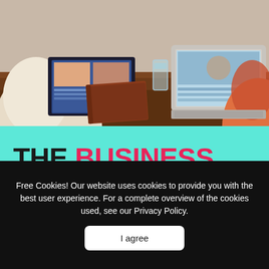[Figure (photo): Photo of people working at a wooden desk with laptops, a brown notebook/journal, and a glass. Viewed from above/behind one person in a light sweater on the left, another person on the right with a silver laptop open.]
THE BUSINESS BLOG.
Business tips and tricks from our team of
Free Cookies! Our website uses cookies to provide you with the best user experience. For a complete overview of the cookies used, see our Privacy Policy.
I agree